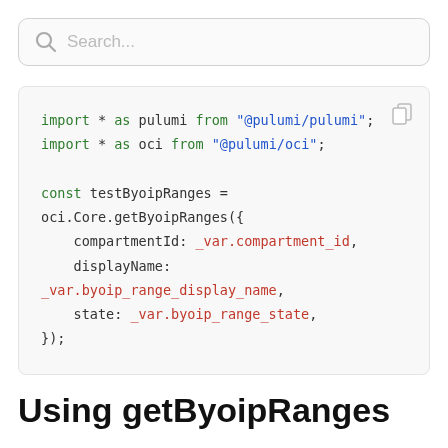[Figure (screenshot): Search bar with magnifying glass icon and placeholder text 'Search...']
import * as pulumi from "@pulumi/pulumi";
import * as oci from "@pulumi/oci";

const testByoipRanges = oci.Core.getByoipRanges({
    compartmentId: _var.compartment_id,
    displayName: _var.byoip_range_display_name,
    state: _var.byoip_range_state,
});
Using getByoipRanges